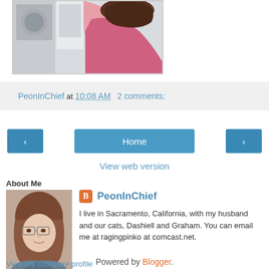[Figure (photo): Partial photo of a person in a pink top near appliances]
PeonInChief at 10:08 AM   2 comments:
[Figure (other): Navigation buttons: left arrow, Home, right arrow]
View web version
About Me
[Figure (photo): Profile photo of a woman with glasses]
PeonInChief
I live in Sacramento, California, with my husband and our cats, Dashiell and Graham. You can email me at ragingpinko at comcast.net.
View my complete profile
Powered by Blogger.